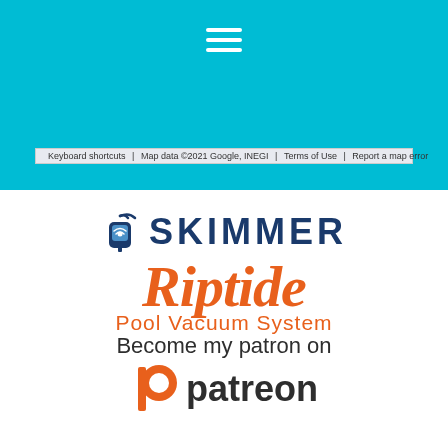[Figure (screenshot): Cyan/blue header bar with hamburger menu icon (three white horizontal lines) and a Google Maps attribution bar showing: Keyboard shortcuts | Map data ©2021 Google, INEGI | Terms of Use | Report a map error]
[Figure (logo): Skimmer logo: device icon with wifi symbol above text SKIMMER in dark blue sans-serif uppercase letters]
[Figure (logo): Riptide Pool Vacuum System logo in italic orange script]
Become my patron on
[Figure (logo): Patreon logo: orange P icon and dark 'patreon' wordmark]